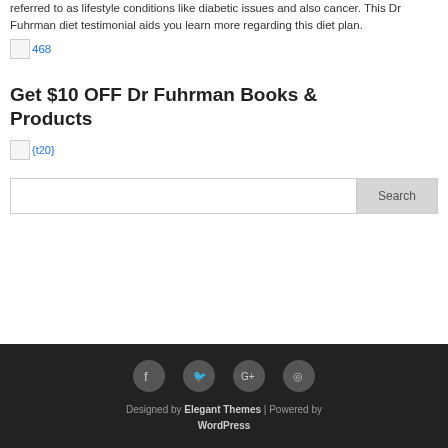referred to as lifestyle conditions like diabetic issues and also cancer. This Dr Fuhrman diet testimonial aids you learn more regarding this diet plan.
[Figure (other): Broken image placeholder with link text '468']
Get $10 OFF Dr Fuhrman Books & Products
[Figure (other): Broken image placeholder with link text '{t20}']
Search bar with Search button
Designed by Elegant Themes | Powered by WordPress